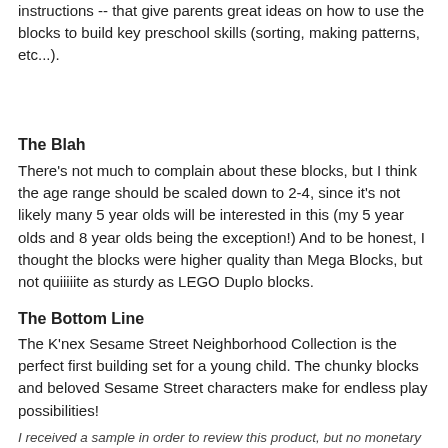instructions -- that give parents great ideas on how to use the blocks to build key preschool skills (sorting, making patterns, etc...).
The Blah
There's not much to complain about these blocks, but I think the age range should be scaled down to 2-4, since it's not likely many 5 year olds will be interested in this (my 5 year olds and 8 year olds being the exception!) And to be honest, I thought the blocks were higher quality than Mega Blocks, but not quiiiiite as sturdy as LEGO Duplo blocks.
The Bottom Line
The K'nex Sesame Street Neighborhood Collection is the perfect first building set for a young child. The chunky blocks and beloved Sesame Street characters make for endless play possibilities!
I received a sample in order to review this product, but no monetary